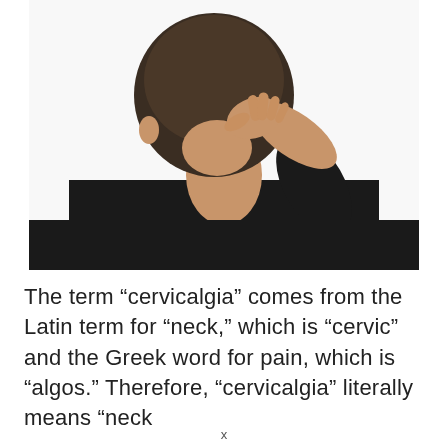[Figure (photo): A person seen from behind, head bowed, hand grasping the back of their neck, wearing a black shirt, on a white background — illustrating neck pain.]
The term “cervicalgia” comes from the Latin term for “neck,” which is “cervic” and the Greek word for pain, which is “algos.” Therefore, “cervicalgia” literally means “neck
x